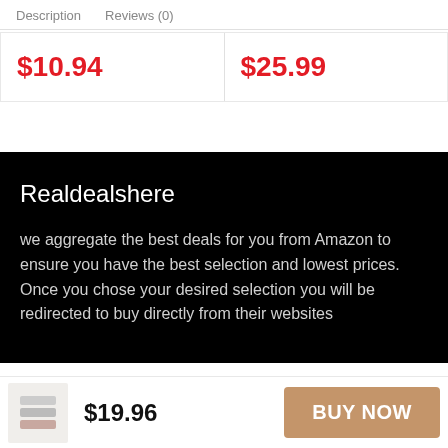Description   Reviews (0)
| $10.94 | $25.99 |
Realdealshere
we aggregate the best deals for you from Amazon to ensure you have the best selection and lowest prices. Once you chose your desired selection you will be redirected to buy directly from their websites
$19.96
BUY NOW